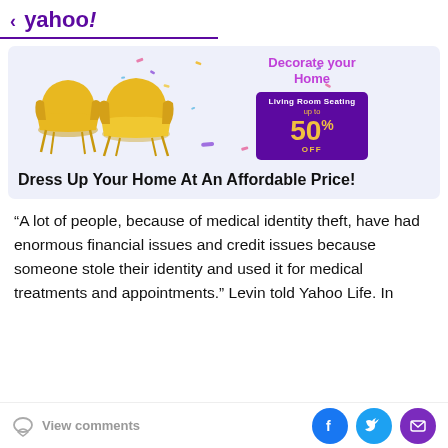< yahoo!
[Figure (infographic): Advertisement banner showing two yellow armchairs with colorful confetti, text 'Decorate your Home' in pink/purple, and a purple box with 'Living Room Seating up to 50% OFF' in yellow text]
Dress Up Your Home At An Affordable Price!
“A lot of people, because of medical identity theft, have had enormous financial issues and credit issues because someone stole their identity and used it for medical treatments and appointments.” Levin told Yahoo Life. In
View comments